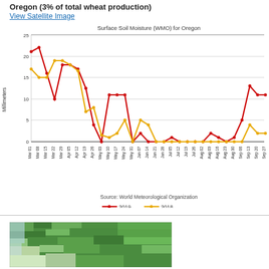Oregon (3% of total wheat production)
View Satellite Image
[Figure (line-chart): Surface Soil Moisture (WMO) for Oregon]
[Figure (map): Satellite image map of Oregon showing vegetation/agricultural land in green]